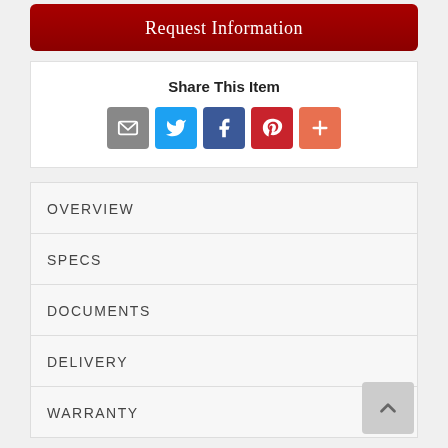Request Information
Share This Item
[Figure (other): Social share icons: email (gray), Twitter (blue), Facebook (dark blue), Pinterest (red), More (orange)]
OVERVIEW
SPECS
DOCUMENTS
DELIVERY
WARRANTY